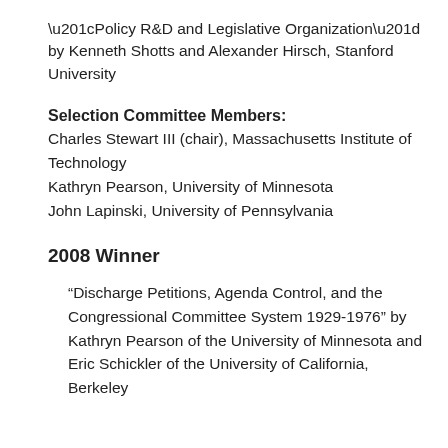“Policy R&D and Legislative Organization” by Kenneth Shotts and Alexander Hirsch, Stanford University
Selection Committee Members:
Charles Stewart III (chair), Massachusetts Institute of Technology
Kathryn Pearson, University of Minnesota
John Lapinski, University of Pennsylvania
2008 Winner
“Discharge Petitions, Agenda Control, and the Congressional Committee System 1929-1976” by Kathryn Pearson of the University of Minnesota and Eric Schickler of the University of California, Berkeley